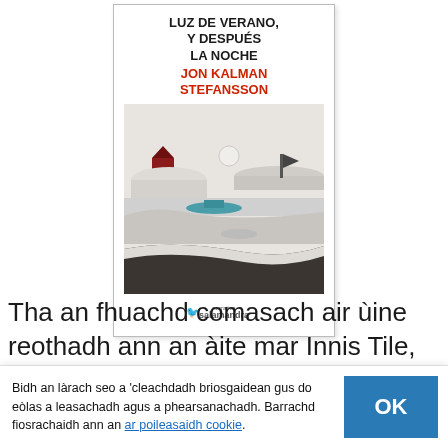[Figure (illustration): Book cover of 'Luz de verano, y después la noche' by Jon Kalman Stefansson, published by Salamandra. The cover shows a minimalist wintry landscape with snowy hills, a red house, and a small boat, with the title in bold black and the author name in red at the top.]
Tha an fhuachd comasach air ùine reothadh ann an àite mar Innis Tile, mar-thà air a chumadh le a
Bidh an làrach seo a 'cleachdadh briosgaidean gus do eòlas a leasachadh agus a phearsanachadh. Barrachd fiosrachaidh ann an ar poileasaidh cookie.